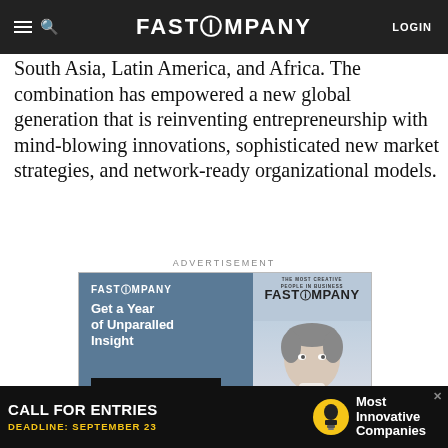FAST COMPANY — LOGIN
South Asia, Latin America, and Africa. The combination has empowered a new global generation that is reinventing entrepreneurship with mind-blowing innovations, sophisticated new market strategies, and network-ready organizational models.
ADVERTISEMENT
[Figure (screenshot): Fast Company subscription advertisement box with text 'Get a Year of Unparalled Insight', subscribe button, and magazine cover showing a woman with short hair and text 'THE MOST CREATIVE PEOPLE IN BUSINESS FAST COMPANY' with '#100' visible]
[Figure (screenshot): Bottom banner advertisement: black background, 'CALL FOR ENTRIES DEADLINE: SEPTEMBER 23', lightbulb icon, 'Most Innovative Companies' text]